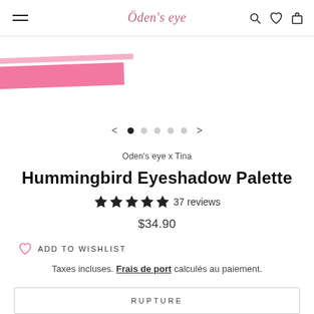Oden's eye
[Figure (photo): Partial product image with pink stripe/branding]
[Figure (other): Carousel navigation dots: 1 filled, 4 empty, with left/right arrows]
Oden's eye x Tina
Hummingbird Eyeshadow Palette
★★★★★ 37 reviews
$34.90
ADD TO WISHLIST
Taxes incluses. Frais de port calculés au paiement.
RUPTURE